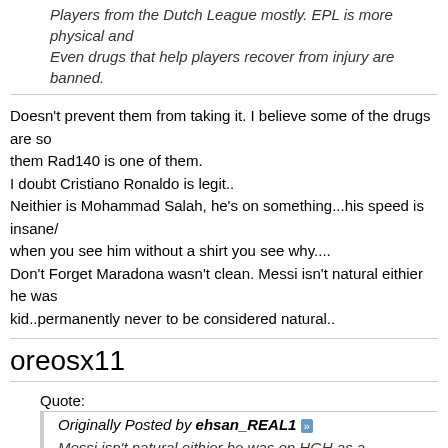Players from the Dutch League mostly. EPL is more physical and... Even drugs that help players recover from injury are banned.
Doesn't prevent them from taking it. I believe some of the drugs are so... them Rad140 is one of them.
I doubt Cristiano Ronaldo is legit..
Neithier is Mohammad Salah, he's on something...his speed is insane/... when you see him without a shirt you see why....
Don't Forget Maradona wasn't clean. Messi isn't natural eithier he was... kid..permanently never to be considered natural..
oreosx11
Quote:
Originally Posted by ehsan_REAL1 »
Messi isn't natural eithier he was on HGH as a kid..permanently n... considered natural..
Messi has growth hormone deficiency... He's shorter than average bec... therapy to give him the same amount of hormone everyone else natura... can be to test and make sure he's not getting too much. Giving too mu... benefit but the negative effects would have screwed him in a couple ye... to "doping" amounts.